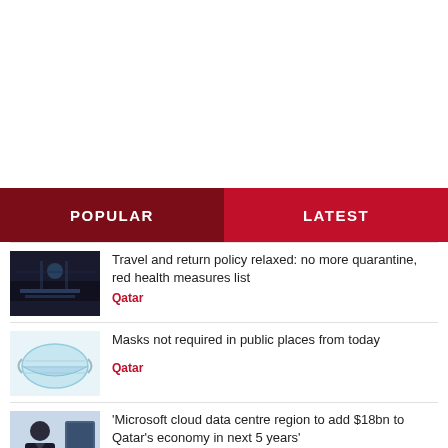POPULAR
LATEST
Travel and return policy relaxed: no more quarantine, red health measures list — Qatar
Masks not required in public places from today — Qatar
'Microsoft cloud data centre region to add $18bn to Qatar's economy in next 5 years' — Qatar